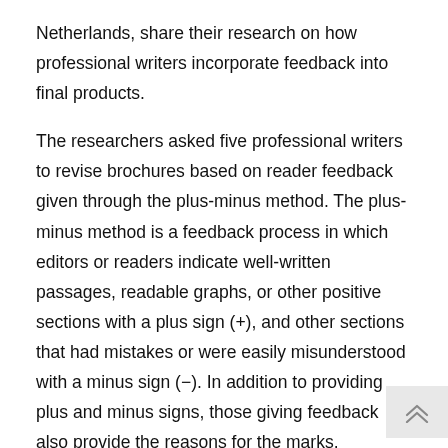Netherlands, share their research on how professional writers incorporate feedback into final products.
The researchers asked five professional writers to revise brochures based on reader feedback given through the plus-minus method. The plus-minus method is a feedback process in which editors or readers indicate well-written passages, readable graphs, or other positive sections with a plus sign (+), and other sections that had mistakes or were easily misunderstood with a minus sign (−). In addition to providing plus and minus signs, those giving feedback also provide the reasons for the marks.